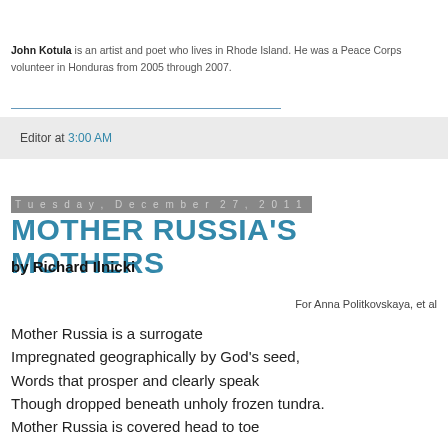John Kotula is an artist and poet who lives in Rhode Island. He was a Peace Corps volunteer in Honduras from 2005 through 2007.
Editor at 3:00 AM
Tuesday, December 27, 2011
MOTHER RUSSIA'S MOTHERS
by Richard Ilnicki
For Anna Politkovskaya, et al
Mother Russia is a surrogate
Impregnated geographically by God's seed,
Words that prosper and clearly speak
Though dropped beneath unholy frozen tundra.
Mother Russia is covered head to toe